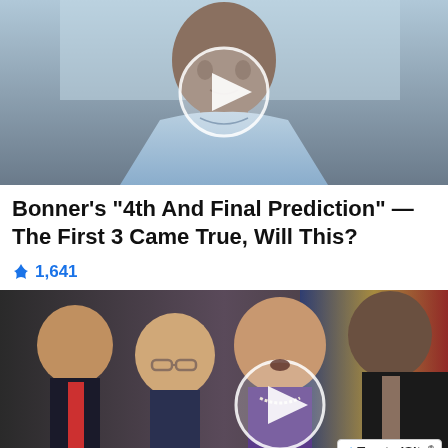[Figure (photo): Video thumbnail showing an older man in a light blue button-up shirt with a circular play button overlay in the center. Background shows a window with greenery outside.]
Bonner's "4th And Final Prediction" — The First 3 Came True, Will This?
🔥 1,641
[Figure (photo): Video thumbnail showing politicians at a press conference including a woman in a purple blazer speaking at a podium, flanked by men in suits. A circular play button overlay is in the center. A TrustedSite CERTIFIED SECURE badge appears in the bottom right corner.]